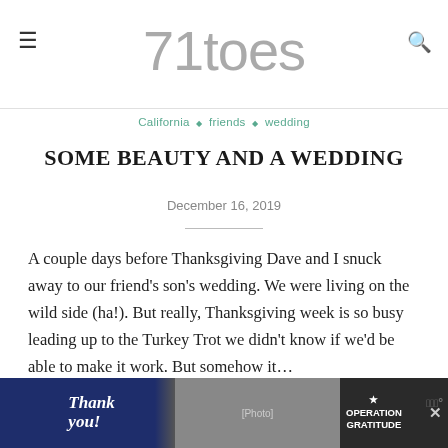71toes
California ◆ friends ◆ wedding
SOME BEAUTY AND A WEDDING
December 16, 2019
A couple days before Thanksgiving Dave and I snuck away to our friend's son's wedding. We were living on the wild side (ha!). But really, Thanksgiving week is so busy leading up to the Turkey Trot we didn't know if we'd be able to make it work. But somehow it…
READ MORE
[Figure (other): Advertisement banner: Thank you with Operation Gratitude military promotion]